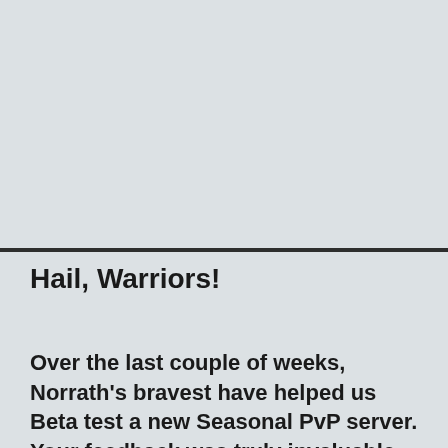[Figure (other): Large gray placeholder image area occupying the top portion of the page]
Hail, Warriors!
Over the last couple of weeks, Norrath's bravest have helped us Beta test a new Seasonal PvP server. Your feedback was truly invaluable, and today, we're happy to announce that the